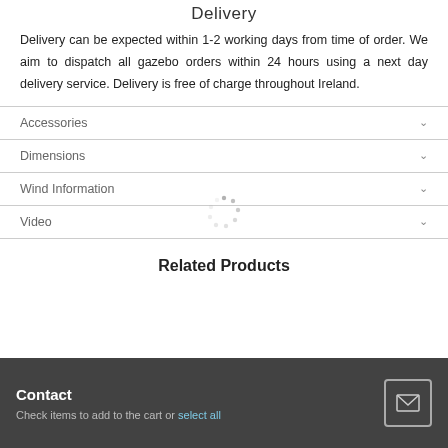Delivery
Delivery can be expected within 1-2 working days from time of order. We aim to dispatch all gazebo orders within 24 hours using a next day delivery service. Delivery is free of charge throughout Ireland.
Accessories
Dimensions
Wind Information
Video
[Figure (other): Loading spinner animation — circular dots arrangement]
Related Products
Check items to add to the cart or select all